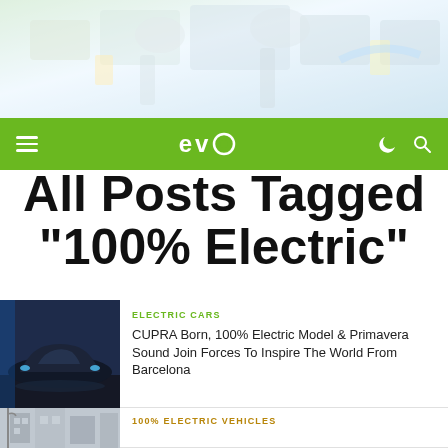[Figure (photo): Industrial/factory background with robotic assembly line machinery, shown with a light whitish overlay]
EVO — navigation bar with hamburger menu, EVO logo, dark mode toggle and search icon
All Posts Tagged "100% Electric"
[Figure (photo): Dark blue scene of a CUPRA Born electric car]
ELECTRIC CARS
CUPRA Born, 100% Electric Model & Primavera Sound Join Forces To Inspire The World From Barcelona
[Figure (photo): Street scene with buildings, partially visible at bottom of page]
100% ELECTRIC VEHICLES